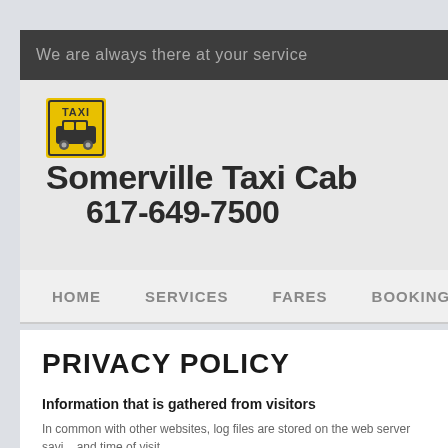We are always there at your service
[Figure (logo): Somerville Taxi Cab logo with yellow taxi icon, company name and phone number 617-649-7500]
HOME    SERVICES    FARES    BOOKING    CONTACT
PRIVACY POLICY
Information that is gathered from visitors
In common with other websites, log files are stored on the web server saving details such as the visitor's IP address, browser type, referring page and time of visit.
Cookies may be used to remember visitor preferences when interacting with the website.